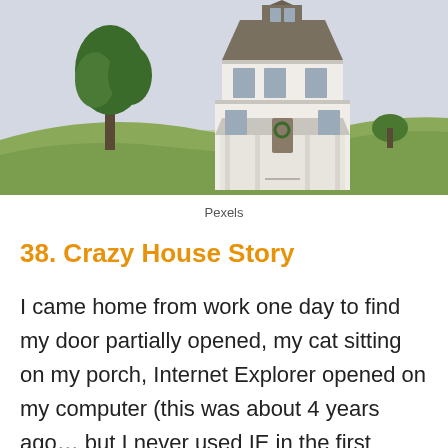[Figure (photo): A white Victorian-style house sitting on a green grassy hill with a large tree to the left, under a light gray sky.]
Pexels
38. Crazy House Story
I came home from work one day to find my door partially opened, my cat sitting on my porch, Internet Explorer opened on my computer (this was about 4 years ago… but I never used IE in the first place, so